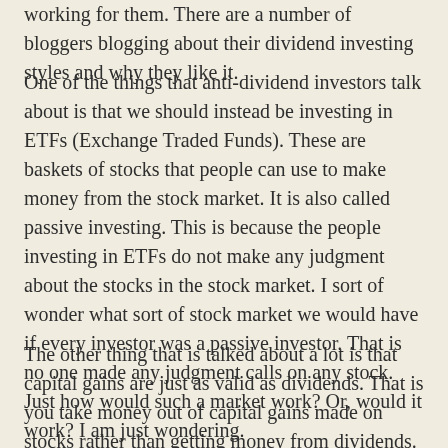working for them. There are a number of bloggers blogging about their dividend investing styles and why they like it.
One of the things that anti-dividend investors talk about is that we should instead be investing in ETFs (Exchange Traded Funds). These are baskets of stocks that people can use to make money from the stock market. It is also called passive investing. This is because the people investing in ETFs do not make any judgment about the stocks in the stock market. I sort of wonder what sort of stock market we would have if every investor was a passive investor. That is no one made any judgment calls on any stock. Just how would such a market work? Or, would it work? I am just wondering.
The other thing that is talked about a lot is that capital gains are just as valid as dividends. That is you take money out of capital gains made on stocks rather than getting money from dividends. In theory, this is correct, but I have yet to see anyone make income this way. You get lots of people blogging about collecting dividends to live on etc, but I see none collecting capital gain to do this. Theories do not